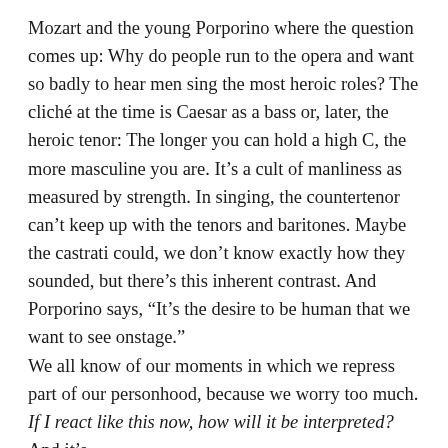Mozart and the young Porporino where the question comes up: Why do people run to the opera and want so badly to hear men sing the most heroic roles? The cliché at the time is Caesar as a bass or, later, the heroic tenor: The longer you can hold a high C, the more masculine you are. It's a cult of manliness as measured by strength. In singing, the countertenor can't keep up with the tenors and baritones. Maybe the castrati could, we don't know exactly how they sounded, but there's this inherent contrast. And Porporino says, “It's the desire to be human that we want to see onstage.”
We all know of our moments in which we repress part of our personhood, because we worry too much. If I react like this now, how will it be interpreted? And it's